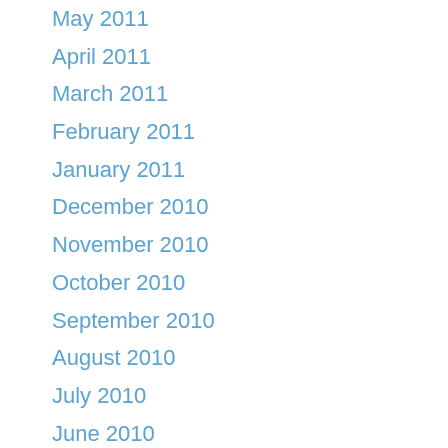May 2011
April 2011
March 2011
February 2011
January 2011
December 2010
November 2010
October 2010
September 2010
August 2010
July 2010
June 2010
May 2010
April 2010
March 2010
February 2010
January 2010
December 2009